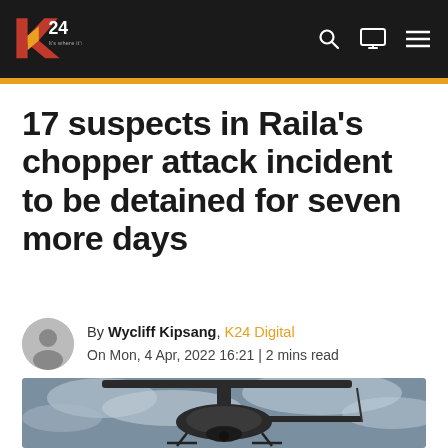K24 — Navigation bar with logo, search, screen, and menu icons
17 suspects in Raila's chopper attack incident to be detained for seven more days
By Wycliff Kipsang, K24 Digital
On Mon, 4 Apr, 2022 16:21 | 2 mins read
[Figure (photo): Close-up photo of a helicopter's underside against a cloudy sky]